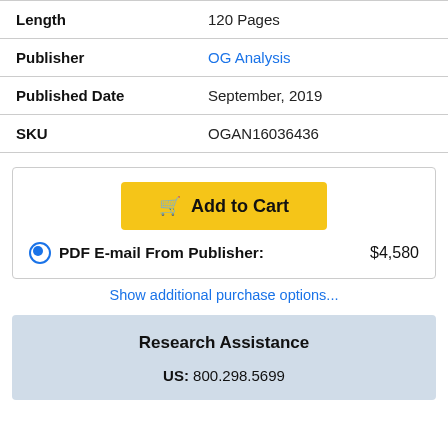| Field | Value |
| --- | --- |
| Length | 120 Pages |
| Publisher | OG Analysis |
| Published Date | September, 2019 |
| SKU | OGAN16036436 |
Add to Cart
PDF E-mail From Publisher:   $4,580
Show additional purchase options...
Research Assistance
US: 800.298.5699